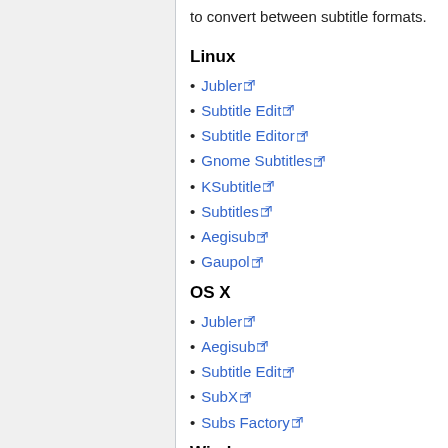to convert between subtitle formats.
Linux
Jubler
Subtitle Edit
Subtitle Editor
Gnome Subtitles
KSubtitle
Subtitles
Aegisub
Gaupol
OS X
Jubler
Aegisub
Subtitle Edit
SubX
Subs Factory
Windows